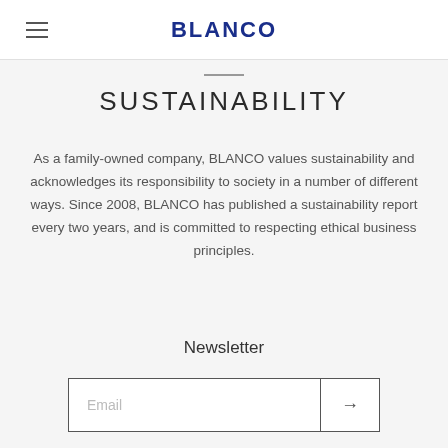BLANCO
SUSTAINABILITY
As a family-owned company, BLANCO values sustainability and acknowledges its responsibility to society in a number of different ways. Since 2008, BLANCO has published a sustainability report every two years, and is committed to respecting ethical business principles.
Newsletter